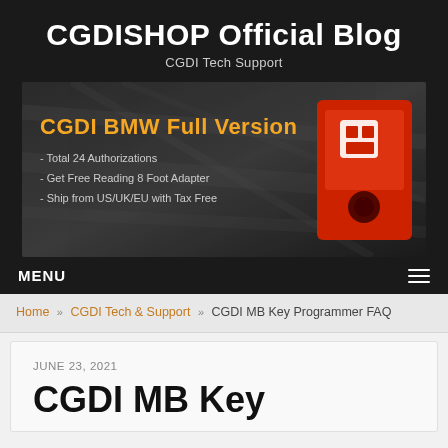CGDISHOP Official Blog
CGDI Tech Support
[Figure (photo): Banner advertisement for CGDI BMW Full Version showing a red device with text: Total 24 Authorizations, Get Free Reading 8 Foot Adapter, Ship from US/UK/EU with Tax Free]
MENU
Home » CGDI Tech & Support » CGDI MB Key Programmer FAQ
JUNE 23, 2021
CGDI MB Key